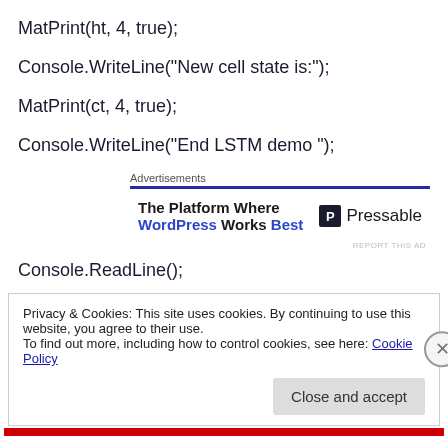MatPrint(ht, 4, true);
Console.WriteLine("New cell state is:");
MatPrint(ct, 4, true);
Console.WriteLine("End LSTM demo ");
[Figure (other): Advertisement banner: The Platform Where WordPress Works Best - Pressable]
Console.ReadLine();
Privacy & Cookies: This site uses cookies. By continuing to use this website, you agree to their use.
To find out more, including how to control cookies, see here: Cookie Policy
Close and accept